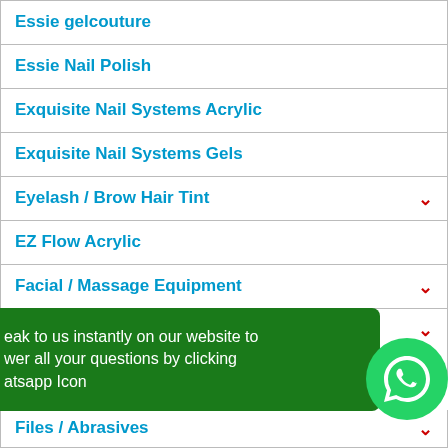Essie gelcouture
Essie Nail Polish
Exquisite Nail Systems Acrylic
Exquisite Nail Systems Gels
Eyelash / Brow Hair Tint
EZ Flow Acrylic
Facial / Massage Equipment
Facial Chairs / Massage Chairs / Beds / Accessories
[Figure (illustration): WhatsApp chat widget with green background overlay showing text: 'eak to us instantly on our website to wer all your questions by clicking atsapp Icon' and a green WhatsApp icon circle on the right]
Files / Abrasives